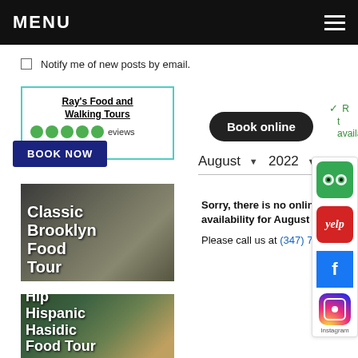MENU
Notify me of new posts by email.
Ray's Food and Walking Tours
●●●●● reviews tripadvisor
BOOK NOW
[Figure (photo): Classic Brooklyn Food Tour thumbnail image showing brownstone buildings]
[Figure (photo): Hip Hispanic Hasidic Food Tour thumbnail image showing street scene]
Book online
✓ R t availab
August ▾  2022 ▾
Sorry, there is no online availability for August 2022.

Please call us at (347) 770-5369.
[Figure (infographic): Social media icons panel: TripAdvisor, Yelp, Facebook, Instagram]